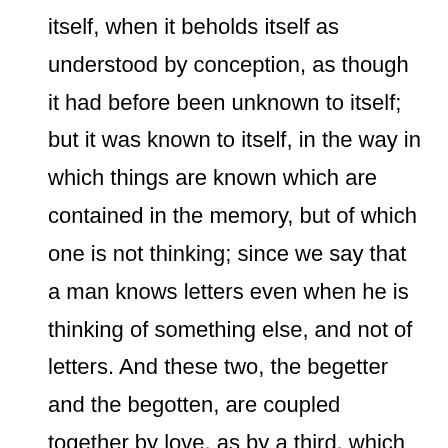itself, when it beholds itself as understood by conception, as though it had before been unknown to itself; but it was known to itself, in the way in which things are known which are contained in the memory, but of which one is not thinking; since we say that a man knows letters even when he is thinking of something else, and not of letters. And these two, the begetter and the begotten, are coupled together by love, as by a third, which is nothing else than will, seeking or holding fast the enjoyment of something. We held, therefore, that a